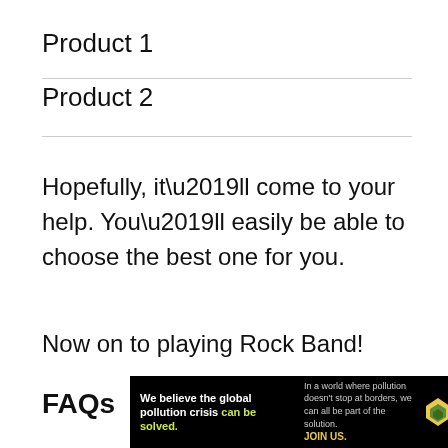Product 1
Product 2
Hopefully, it’ll come to your help. You’ll easily be able to choose the best one for you.
Now on to playing Rock Band!
FAQs
[Figure (infographic): Pure Earth advertisement banner: black background with text 'We believe the global pollution crisis can be solved.' alongside 'In a world where pollution doesn’t stop at borders, we can all be part of the solution. JOIN US.' with the Pure Earth logo (diamond/chevron icon) and 'PURE EARTH' text in white.]